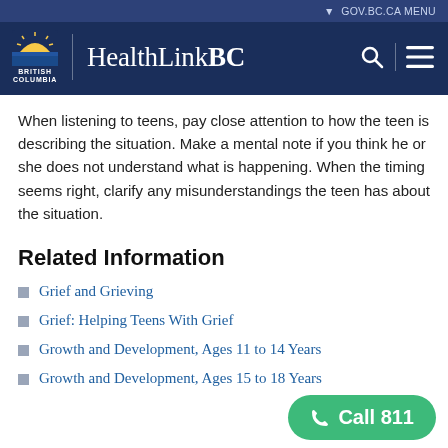GOV.BC.CA MENU | HealthLinkBC
When listening to teens, pay close attention to how the teen is describing the situation. Make a mental note if you think he or she does not understand what is happening. When the timing seems right, clarify any misunderstandings the teen has about the situation.
Related Information
Grief and Grieving
Grief: Helping Teens With Grief
Growth and Development, Ages 11 to 14 Years
Growth and Development, Ages 15 to 18 Years